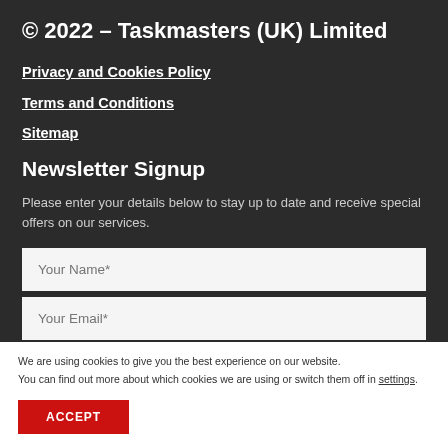© 2022 – Taskmasters (UK) Limited
Privacy and Cookies Policy
Terms and Conditions
Sitemap
Newsletter Signup
Please enter your details below to stay up to date and receive special offers on our services.
Your Name*
Your Email*
We are using cookies to give you the best experience on our website. You can find out more about which cookies we are using or switch them off in settings.
ACCEPT